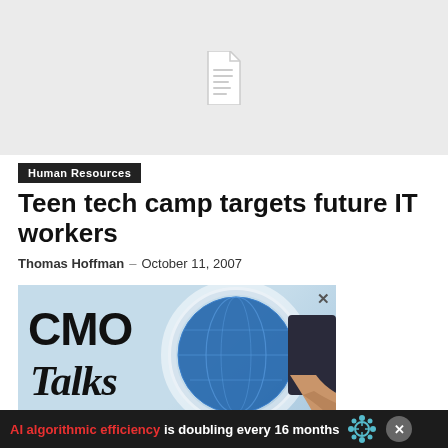[Figure (illustration): Grey placeholder image area with a document/file icon in the center]
Human Resources
Teen tech camp targets future IT workers
Thomas Hoffman – October 11, 2007
[Figure (photo): CMO Talks advertisement banner showing large CMO Talks text with a globe and a businessman's hand]
AI algorithmic efficiency is doubling every 16 months